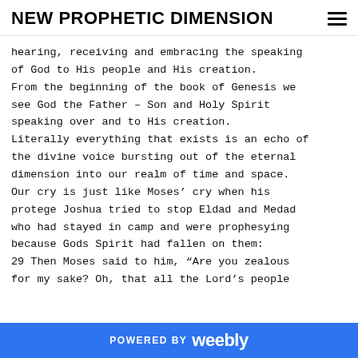NEW PROPHETIC DIMENSION
hearing, receiving and embracing the speaking of God to His people and His creation. From the beginning of the book of Genesis we see God the Father – Son and Holy Spirit speaking over and to His creation. Literally everything that exists is an echo of the divine voice bursting out of the eternal dimension into our realm of time and space. Our cry is just like Moses' cry when his protege Joshua tried to stop Eldad and Medad who had stayed in camp and were prophesying because Gods Spirit had fallen on them:
29 Then Moses said to him, “Are you zealous for my sake? Oh, that all the Lord’s people
POWERED BY weebly